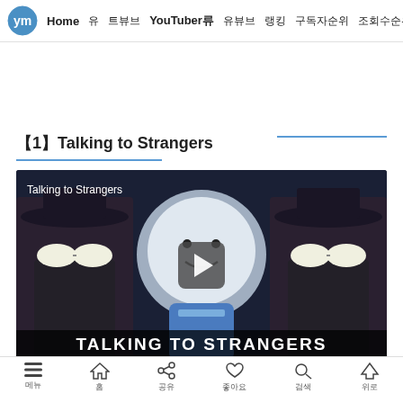Home  YouTuber류  유튜버  랭킹  구독자순위  조회수순위  영상순위  Yo
【1】Talking to Strangers
[Figure (screenshot): YouTube video thumbnail for 'Talking to Strangers' showing animated cartoon characters with a play button overlay. Text at bottom reads TALKING TO STRANGERS.]
메뉴  홈  공유  좋아요  검색  위로